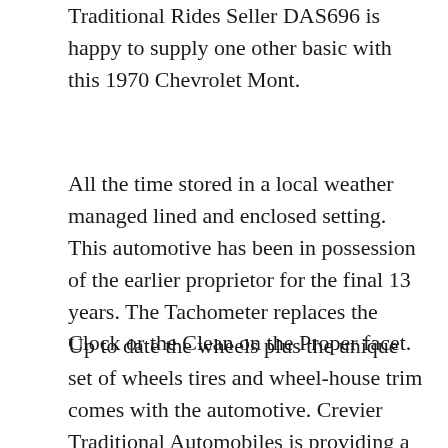Traditional Rides Seller DAS696 is happy to supply one other basic with this 1970 Chevrolet Mont.
All the time stored in a local weather managed lined and enclosed setting. This automotive has been in possession of the earlier proprietor for the final 13 years. The Tachometer replaces the Clock or the Clean on the Proper facet.
Up to date the wheels plus the unique set of wheels tires and wheel-house trim comes with the automotive. Crevier Traditional Automobiles is providing a 1970 Chevrolet Monte Carlo SS 454. Below the hood sits a Numbers Ma extra.